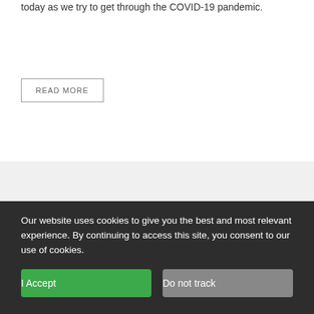today as we try to get through the COVID-19 pandemic.
READ MORE
[Figure (screenshot): Promotional image for 'Why I'm (Still) Happy' featuring cursive red title text, eSpeakers logo, a video thumbnail showing a person, and text reading 'with' and 'CSP, CPAE']
Our website uses cookies to give you the best and most relevant experience. By continuing to access this site, you consent to our use of cookies.
I Accept
Do not track